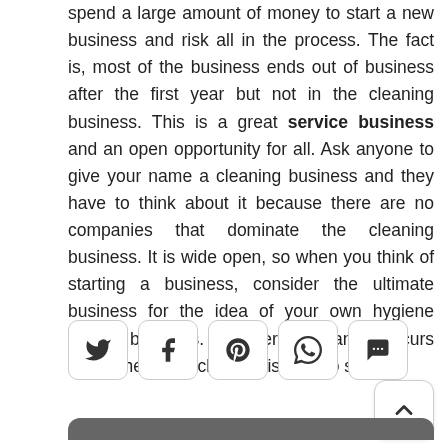spend a large amount of money to start a new business and risk all in the process. The fact is, most of the business ends out of business after the first year but not in the cleaning business. This is a great service business and an open opportunity for all. Ask anyone to give your name a cleaning business and they have to think about it because there are no companies that dominate the cleaning business. It is wide open, so when you think of starting a business, consider the ultimate business for the idea of your own hygiene service business. Commercial cleaning occurs everywhere and cleaning is here to stay.
[Figure (other): Social share buttons row: Twitter, Facebook, Pinterest, WhatsApp, Chat]
[Figure (other): Back to top button with upward chevron]